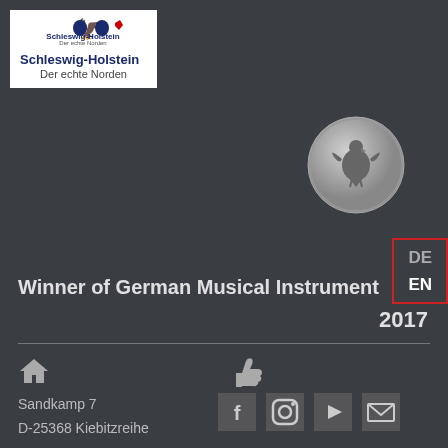[Figure (logo): Schleswig-Holstein state logo with eagle and text 'Schleswig-Holstein Der echte Norden']
[Figure (illustration): German Federal Eagle medal/seal award badge in silver]
DE
EN
Winner of German Musical Instrument Award 2017
[Figure (illustration): Social media and contact icons: home, thumbs up, Facebook, Instagram, YouTube, email]
Sandkamp 7
D-25368 Kiebitzreihe